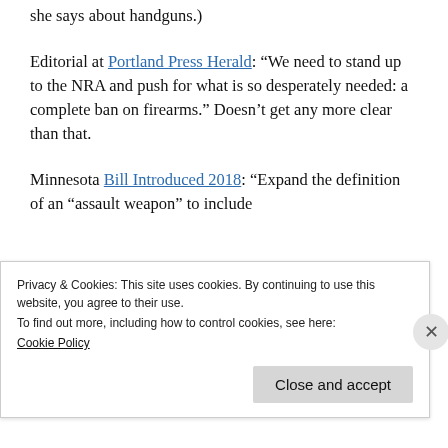she says about handguns.)
Editorial at Portland Press Herald: “We need to stand up to the NRA and push for what is so desperately needed: a complete ban on firearms.” Doesn’t get any more clear than that.
Minnesota Bill Introduced 2018: “Expand the definition of an “assault weapon” to include
Privacy & Cookies: This site uses cookies. By continuing to use this website, you agree to their use.
To find out more, including how to control cookies, see here:
Cookie Policy